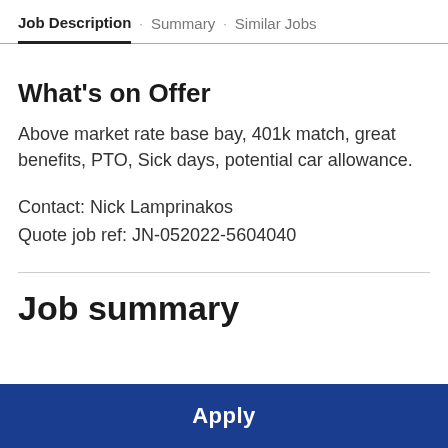Job Description · Summary · Similar Jobs
What's on Offer
Above market rate base bay, 401k match, great benefits, PTO, Sick days, potential car allowance.
Contact: Nick Lamprinakos
Quote job ref: JN-052022-5604040
Job summary
Apply